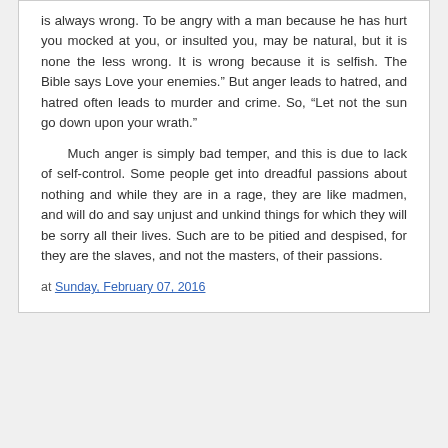is always wrong. To be angry with a man because he has hurt you mocked at you, or insulted you, may be natural, but it is none the less wrong. It is wrong because it is selfish. The Bible says Love your enemies.” But anger leads to hatred, and hatred often leads to murder and crime. So, “Let not the sun go down upon your wrath.”
Much anger is simply bad temper, and this is due to lack of self-control. Some people get into dreadful passions about nothing and while they are in a rage, they are like madmen, and will do and say unjust and unkind things for which they will be sorry all their lives. Such are to be pitied and despised, for they are the slaves, and not the masters, of their passions.
at Sunday, February 07, 2016